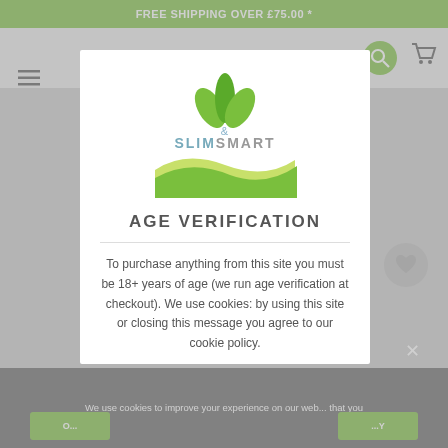FREE SHIPPING OVER £75.00 *
[Figure (screenshot): SlimSmart website background with navigation bar, logo, hamburger menu, search and cart icons]
[Figure (logo): SlimSmart logo with green leaves and wave graphic inside modal]
AGE VERIFICATION
To purchase anything from this site you must be 18+ years of age (we run age verification at checkout). We use cookies: by using this site or closing this message you agree to our cookie policy.